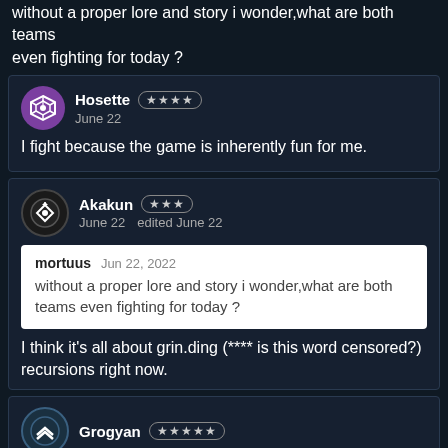without a proper lore and story i wonder,what are both teams even fighting for today ?
Hosette ★★★★
June 22

I fight because the game is inherently fun for me.
Akakun ★★★
June 22   edited June 22

mortuus  Jun 22, 2022
without a proper lore and story i wonder,what are both teams even fighting for today ?

I think it's all about grin.ding (**** is this word censored?) recursions right now.
Grogyan ★★★★★